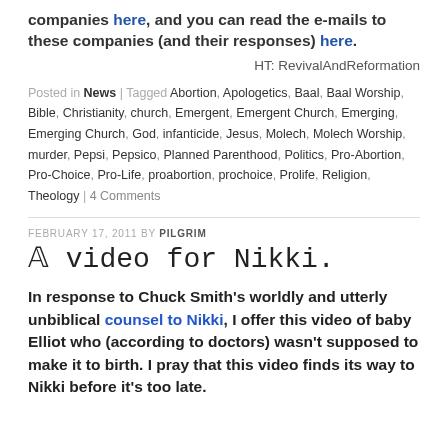companies here, and you can read the e-mails to these companies (and their responses) here.
HT: RevivalAndReformation
Posted in News | Tagged Abortion, Apologetics, Baal, Baal Worship, Bible, Christianity, church, Emergent, Emergent Church, Emerging, Emerging Church, God, infanticide, Jesus, Molech, Molech Worship, murder, Pepsi, Pepsico, Planned Parenthood, Politics, Pro-Abortion, Pro-Choice, Pro-Life, proabortion, prochoice, Prolife, Religion, Theology | 4 Comments
FEBRUARY 17, 2011 BY PILGRIM
A video for Nikki.
In response to Chuck Smith's worldly and utterly unbiblical counsel to Nikki, I offer this video of baby Elliot who (according to doctors) wasn't supposed to make it to birth. I pray that this video finds its way to Nikki before it's too late.